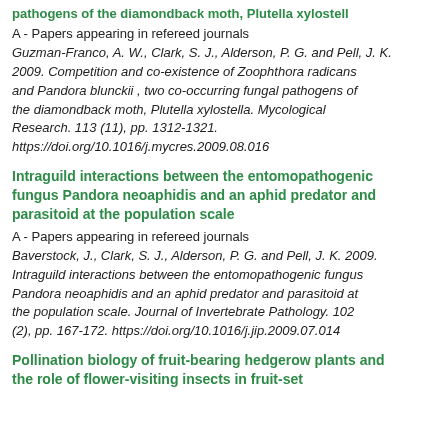pathogens of the diamondback moth, Plutella xylostella
A - Papers appearing in refereed journals
Guzman-Franco, A. W., Clark, S. J., Alderson, P. G. and Pell, J. K. 2009. Competition and co-existence of Zoophthora radicans and Pandora blunckii , two co-occurring fungal pathogens of the diamondback moth, Plutella xylostella. Mycological Research. 113 (11), pp. 1312-1321. https://doi.org/10.1016/j.mycres.2009.08.016
Intraguild interactions between the entomopathogenic fungus Pandora neoaphidis and an aphid predator and parasitoid at the population scale
A - Papers appearing in refereed journals
Baverstock, J., Clark, S. J., Alderson, P. G. and Pell, J. K. 2009. Intraguild interactions between the entomopathogenic fungus Pandora neoaphidis and an aphid predator and parasitoid at the population scale. Journal of Invertebrate Pathology. 102 (2), pp. 167-172. https://doi.org/10.1016/j.jip.2009.07.014
Pollination biology of fruit-bearing hedgerow plants and the role of flower-visiting insects in fruit-set